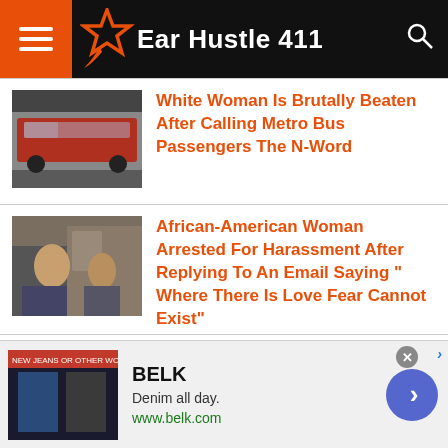Ear Hustle 411
[Figure (screenshot): Thumbnail of a red metro bus on a street]
White Woman Is Brutally Beaten After Calling Metro Bus Passengers The N-Word
[Figure (screenshot): Thumbnail of people in what appears to be a courtroom or office setting]
African-American Woman Arrested For Harassment After Replying To An Email Saying " Where There Is Love Fear Cannot Exist"
[Figure (photo): Thumbnail of a man's face]
Man Follows Teenage Girl In Bathroom Stall & Her Father Beat Him To Death
BELK
Denim all day.
www.belk.com